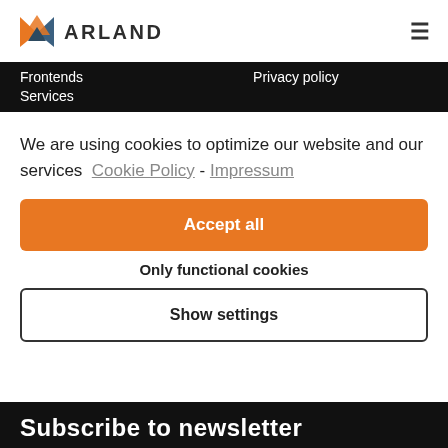[Figure (logo): Arland company logo with triangular geometric icon in orange and blue/grey, followed by ARLAND text in bold dark letters]
Frontends   Privacy policy
Services
We are using cookies to optimize our website and our services  Cookie Policy - Impressum
Accept all
Only functional cookies
Show settings
Subscribe to newsletter